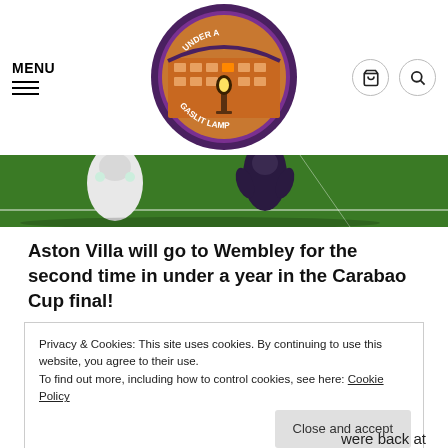MENU | Under A Gaslit Lamp logo | cart icon | search icon
[Figure (photo): Football/soccer match photo showing players in white and dark kits on a green pitch]
Aston Villa will go to Wembley for the second time in under a year in the Carabao Cup final!
Privacy & Cookies: This site uses cookies. By continuing to use this website, you agree to their use. To find out more, including how to control cookies, see here: Cookie Policy
Close and accept
were back at